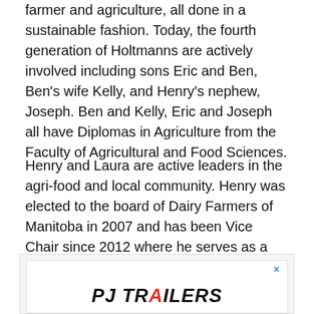farmer and agriculture, all done in a sustainable fashion. Today, the fourth generation of Holtmanns are actively involved including sons Eric and Ben, Ben's wife Kelly, and Henry's nephew, Joseph. Ben and Kelly, Eric and Joseph all have Diplomas in Agriculture from the Faculty of Agricultural and Food Sciences.
Henry and Laura are active leaders in the agri-food and local community. Henry was elected to the board of Dairy Farmers of Manitoba in 2007 and has been Vice Chair since 2012 where he serves as a key advisor on dairy policy to both the provincial and federal governments. Henry is also the chair of the Western Canada Milk Pool, which seeks to increase milk processing capacity across the four western provinces, and helped to establish Dairy Innovation West, a milk-concentrating facility that is expected to open in 2024 in Blackfalds, Alberta.
[Figure (other): Advertisement banner for PJ Trailers with partial logo visible]